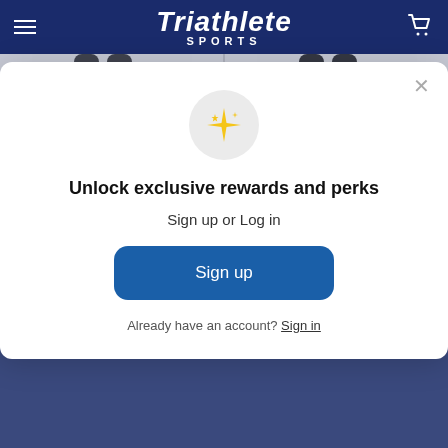Triathlete SPORTS
[Figure (screenshot): Two wetsuit product images showing legs/feet of a person wearing black wetsuits on white background]
CHOOSE OPTIONS
CHOOSE OPTIONS
[Figure (infographic): Modal popup with sparkle emoji icon, headline 'Unlock exclusive rewards and perks', subtext 'Sign up or Log in', blue Sign up button, and 'Already have an account? Sign in' link]
Unlock exclusive rewards and perks
Sign up or Log in
Sign up
Already have an account? Sign in